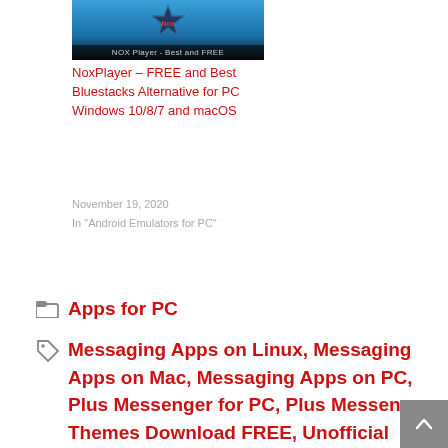[Figure (screenshot): NOX Player app thumbnail with blue background and badge logo, caption 'NOX Player - Best and FREE']
NoxPlayer – FREE and Best Bluestacks Alternative for PC Windows 10/8/7 and macOS
November 19, 2020
In "Android Emulators for PC"
Apps for PC
Messaging Apps on Linux, Messaging Apps on Mac, Messaging Apps on PC, Plus Messenger for PC, Plus Messenger Themes Download FREE, Unofficial Telegram Messaging App